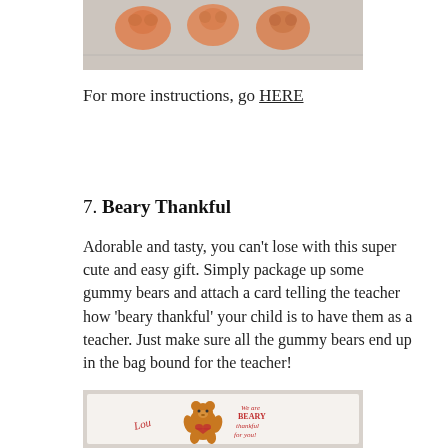[Figure (photo): Photo of orange gummy bears in a plastic bag, partially visible at top of page]
For more instructions, go HERE
7. Beary Thankful
Adorable and tasty, you can't lose with this super cute and easy gift. Simply package up some gummy bears and attach a card telling the teacher how 'beary thankful' your child is to have them as a teacher. Just make sure all the gummy bears end up in the bag bound for the teacher!
[Figure (photo): Photo of a Beary Thankful teacher gift card with a cartoon bear and text reading 'We are BEARY thankful for you!' with name 'Lou' on the card]